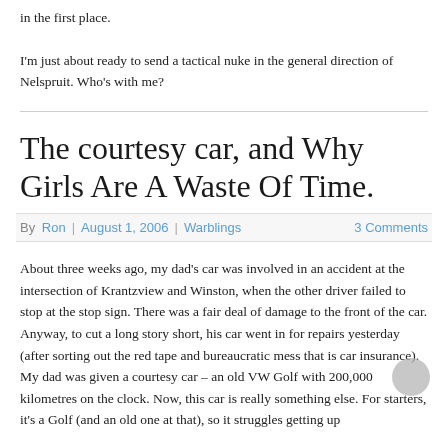in the first place.
I'm just about ready to send a tactical nuke in the general direction of Nelspruit. Who's with me?
The courtesy car, and Why Girls Are A Waste Of Time.
By Ron | August 1, 2006 |Warblings   3 Comments
About three weeks ago, my dad's car was involved in an accident at the intersection of Krantzview and Winston, when the other driver failed to stop at the stop sign. There was a fair deal of damage to the front of the car. Anyway, to cut a long story short, his car went in for repairs yesterday (after sorting out the red tape and bureaucratic mess that is car insurance). My dad was given a courtesy car – an old VW Golf with 200,000 kilometres on the clock. Now, this car is really something else. For starters, it's a Golf (and an old one at that), so it struggles getting up